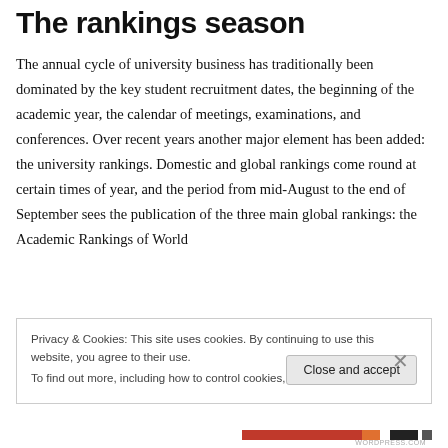The rankings season
The annual cycle of university business has traditionally been dominated by the key student recruitment dates, the beginning of the academic year, the calendar of meetings, examinations, and conferences. Over recent years another major element has been added: the university rankings. Domestic and global rankings come round at certain times of year, and the period from mid-August to the end of September sees the publication of the three main global rankings: the Academic Rankings of World
Privacy & Cookies: This site uses cookies. By continuing to use this website, you agree to their use.
To find out more, including how to control cookies, see here: Cookie Policy
Close and accept